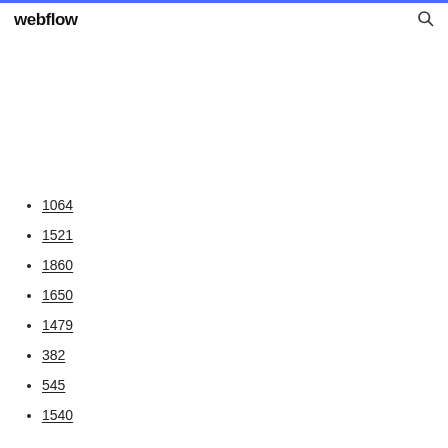webflow
1064
1521
1860
1650
1479
382
545
1540